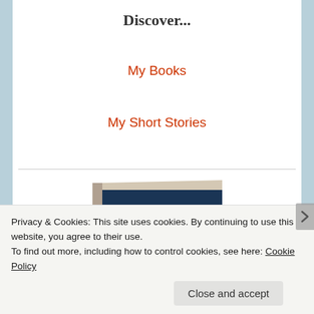Discover...
My Books
My Short Stories
[Figure (photo): A book shown in perspective view with a dark blue cover and light wood-colored spine/top, partially visible]
Privacy & Cookies: This site uses cookies. By continuing to use this website, you agree to their use.
To find out more, including how to control cookies, see here: Cookie Policy
Close and accept